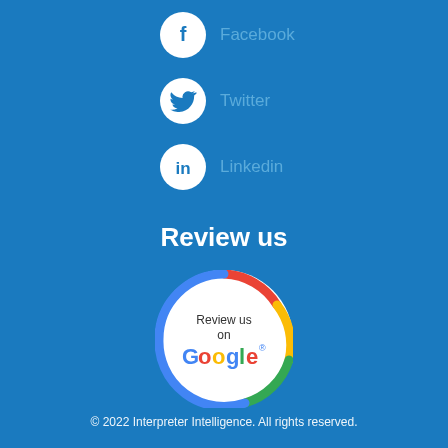Facebook
Twitter
Linkedin
Review us
[Figure (logo): Review us on Google badge — circular white badge with Google-colored arc border and 'Review us on Google' text]
© 2022 Interpreter Intelligence. All rights reserved.